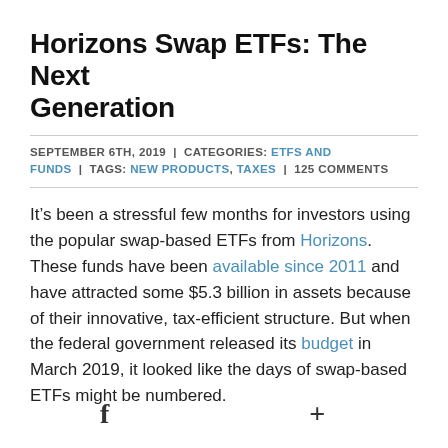Horizons Swap ETFs: The Next Generation
SEPTEMBER 6TH, 2019 | CATEGORIES: ETFS AND FUNDS | TAGS: NEW PRODUCTS, TAXES | 125 COMMENTS
It’s been a stressful few months for investors using the popular swap-based ETFs from Horizons. These funds have been available since 2011 and have attracted some $5.3 billion in assets because of their innovative, tax-efficient structure. But when the federal government released its budget in March 2019, it looked like the days of swap-based ETFs might be numbered.